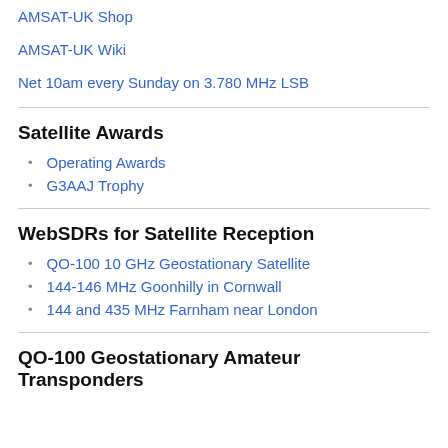AMSAT-UK Shop
AMSAT-UK Wiki
Net 10am every Sunday on 3.780 MHz LSB
Satellite Awards
Operating Awards
G3AAJ Trophy
WebSDRs for Satellite Reception
QO-100 10 GHz Geostationary Satellite
144-146 MHz Goonhilly in Cornwall
144 and 435 MHz Farnham near London
QO-100 Geostationary Amateur Transponders